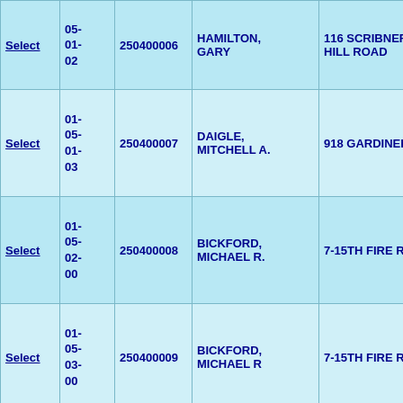| Select | Map | ID | Name | Address |  |
| --- | --- | --- | --- | --- | --- |
| Select | 05-01-02 | 250400006 | HAMILTON, GARY | 116 SCRIBNER HILL ROAD |  |
| Select | 01-05-01-03 | 250400007 | DAIGLE, MITCHELL A. | 918 GARDINER RD |  |
| Select | 01-05-02-00 | 250400008 | BICKFORD, MICHAEL R. | 7-15TH FIRE RD. |  |
| Select | 01-05-03-00 | 250400009 | BICKFORD, MICHAEL R | 7-15TH FIRE RD. |  |
| Select | 01-05-03-01 | 250400010 | KOLOFSKY, MARY A. IRREVOCABLE TRUST | 64 PLEASANTDALE ROAD |  |
| Select | 01-05-04-00 | 250400011 | KOLOFSKY, MARY A. IRREVOCABLE TRUST | 64 PLEASANTDALE ROAD |  |
| Return | 01-05- |  | ANDERSON... |  |  |